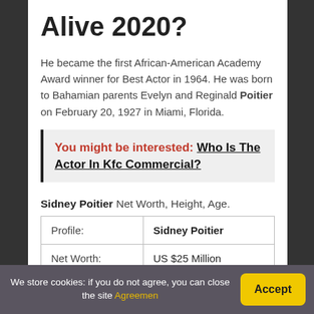Alive 2020?
He became the first African-American Academy Award winner for Best Actor in 1964. He was born to Bahamian parents Evelyn and Reginald Poitier on February 20, 1927 in Miami, Florida.
You might be interested: Who Is The Actor In Kfc Commercial?
Sidney Poitier Net Worth, Height, Age.
| Profile: | Sidney Poitier |
| --- | --- |
| Net Worth: | US $25 Million |
We store cookies: if you do not agree, you can close the site Agreemen
Accept